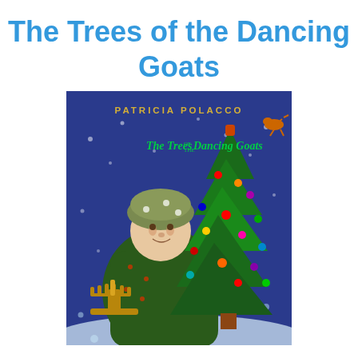The Trees of the Dancing Goats
[Figure (illustration): Book cover of 'The Trees of the Dancing Goats' by Patricia Polacco. Shows a child in a winter hat and coat holding a menorah, standing next to a decorated Christmas tree against a deep blue snowy background. Title text on cover reads 'PATRICIA POLACCO' and 'The Trees of the Dancing Goats'.]